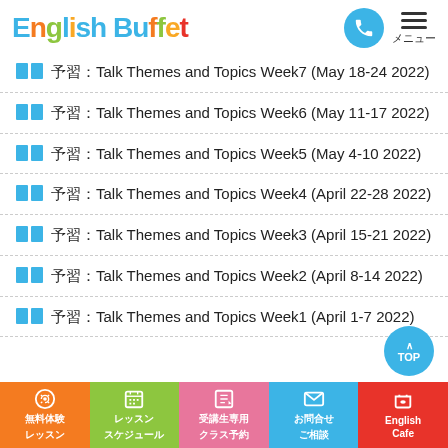English Buffet
予習：Talk Themes and Topics Week7 (May 18-24 2022)
予習：Talk Themes and Topics Week6 (May 11-17 2022)
予習：Talk Themes and Topics Week5 (May 4-10 2022)
予習：Talk Themes and Topics Week4 (April 22-28 2022)
予習：Talk Themes and Topics Week3 (April 15-21 2022)
予習：Talk Themes and Topics Week2 (April 8-14 2022)
予習：Talk Themes and Topics Week1 (April 1-7 2022)
無料体験レッスン　レッスンスケジュール　受講生専用クラス予約　お問合せご相談　English Cafe